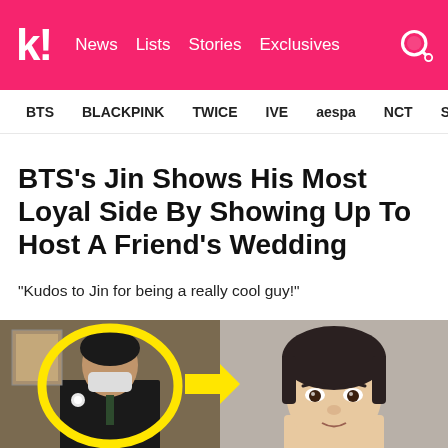K! News Lists Stories Exclusives
BTS BLACKPINK TWICE IVE aespa NCT SEVE
BTS's Jin Shows His Most Loyal Side By Showing Up To Host A Friend's Wedding
“Kudos to Jin for being a really cool guy!”
[Figure (photo): Two side-by-side photos of BTS's Jin. Left photo shows a person in a suit with a mask at a wedding, with a yellow circle highlight around them. Right photo shows Jin's face clearly. A yellow arrow points from left to right photo.]